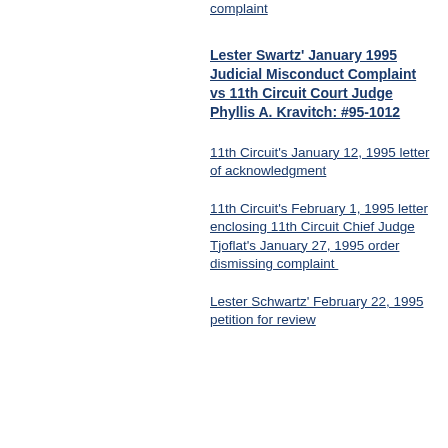complaint
Lester Swartz' January 1995 Judicial Misconduct Complaint vs 11th Circuit Court Judge Phyllis A. Kravitch: #95-1012
11th Circuit's January 12, 1995 letter of acknowledgment
11th Circuit's February 1, 1995 letter enclosing 11th Circuit Chief Judge Tjoflat's January 27, 1995 order dismissing complaint
Lester Schwartz' February 22, 1995 petition for review